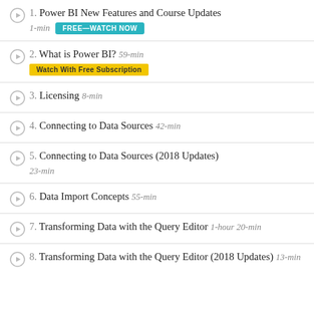1. Power BI New Features and Course Updates  1-min  FREE—WATCH NOW
2. What is Power BI?  59-min  WATCH WITH FREE SUBSCRIPTION
3. Licensing  8-min
4. Connecting to Data Sources  42-min
5. Connecting to Data Sources (2018 Updates)  23-min
6. Data Import Concepts  55-min
7. Transforming Data with the Query Editor  1-hour 20-min
8. Transforming Data with the Query Editor (2018 Updates)  13-min